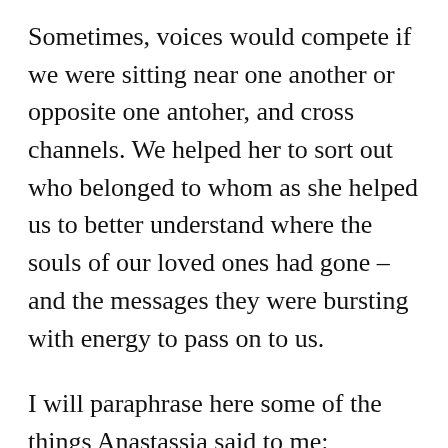Sometimes, voices would compete if we were sitting near one another or opposite one antoher, and cross channels. We helped her to sort out who belonged to whom as she helped us to better understand where the souls of our loved ones had gone – and the messages they were bursting with energy to pass on to us.
I will paraphrase here some of the things Anastassia said to me:
You are a very old soul and you have great energy. She didn't say this to many people in the room, and I felt as if she meant it. I guess in my